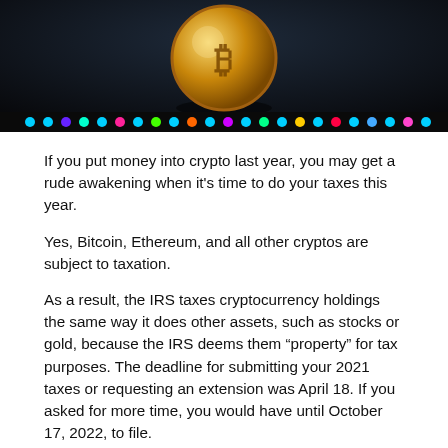[Figure (photo): Bitcoin gold coin photographed against a dark background with colorful LED lighting strip below it.]
If you put money into crypto last year, you may get a rude awakening when it's time to do your taxes this year.
Yes, Bitcoin, Ethereum, and all other cryptos are subject to taxation.
As a result, the IRS taxes cryptocurrency holdings the same way it does other assets, such as stocks or gold, because the IRS deems them “property” for tax purposes. The deadline for submitting your 2021 taxes or requesting an extension was April 18. If you asked for more time, you would have until October 17, 2022, to file.
Cryptocurrencies had a big year in 2021 when many new investors bought them. A study by Grayscale Investments revealed that most people who invested in Bitcoin did so in the past 12 months. But it was a roller coaster year for investors in